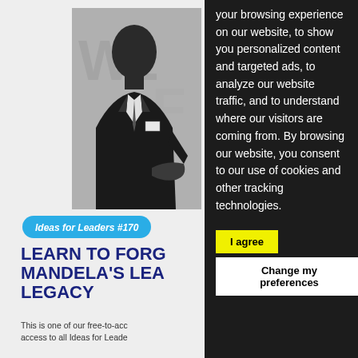[Figure (photo): Black and white photograph of Nelson Mandela in a suit, seen from the side, shaking hands at what appears to be a formal event. He is wearing a conference badge.]
Ideas for Leaders #170
LEARN TO FORG... MANDELA'S LEA... LEGACY
This is one of our free-to-acc... access to all Ideas for Leade...
your browsing experience on our website, to show you personalized content and targeted ads, to analyze our website traffic, and to understand where our visitors are coming from. By browsing our website, you consent to our use of cookies and other tracking technologies.
I agree
Change my preferences